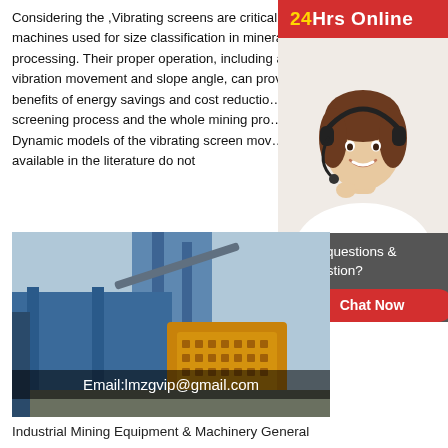Considering the ,Vibrating screens are critical machines used for size classification in mineral processing. Their proper operation, including accurate vibration movement and slope angle, can provide the benefits of energy savings and cost reduction, screening process and the whole mining pro… Dynamic models of the vibrating screen mov… available in the literature do not
[Figure (infographic): 24Hrs Online banner in red with yellow text, and a smiling female customer service agent wearing a headset]
[Figure (photo): Industrial mining equipment and machinery — blue and yellow heavy industrial machines at a facility. Overlay text: Email:lmzgvip@gmail.com]
Industrial Mining Equipment & Machinery General
2020-10-29 · Mining & Minerals Equipment. For more than sixty years, General Kinematics has led the